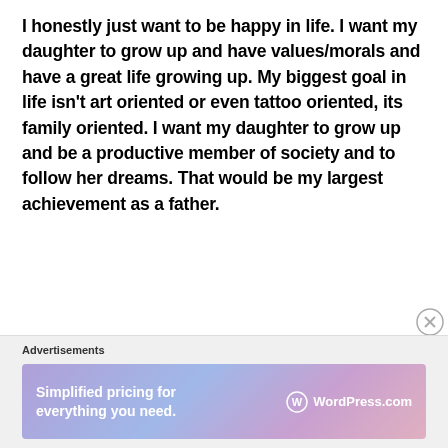I honestly just want to be happy in life. I want my daughter to grow up and have values/morals and have a great life growing up. My biggest goal in life isn't art oriented or even tattoo oriented, its family oriented. I want my daughter to grow up and be a productive member of society and to follow her dreams. That would be my largest achievement as a father.
How do you want to be remembered when your career is all over?
Advertisements
[Figure (other): WordPress.com advertisement banner: 'Simplified pricing for everything you need.' with WordPress.com logo on gradient background]